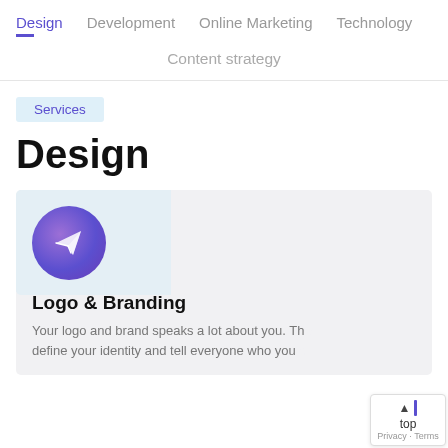Design | Development | Online Marketing | Technology
Content strategy
Services
Design
[Figure (illustration): Purple circle icon with a paper airplane / send arrow symbol inside it, on a light blue background tile within a gray card]
Logo & Branding
Your logo and brand speaks a lot about you. Th... define your identity and tell everyone who you ...